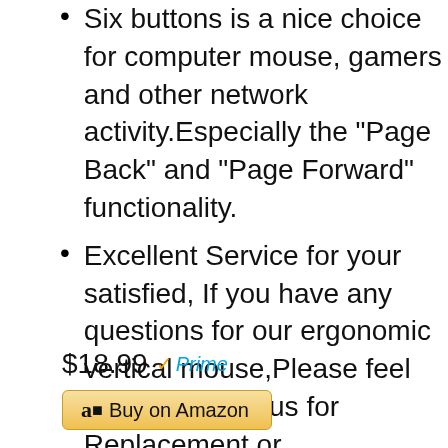Six buttons is a nice choice for computer mouse, gamers and other network activity.Especially the "Page Back" and "Page Forward" functionality.
Excellent Service for your satisfied, If you have any questions for our ergonomic vertical mouse,Please feel free to contact us for Replacement or Refund.Hope you have a pleasure purchase.
$18.99 ✓Prime
Buy on Amazon